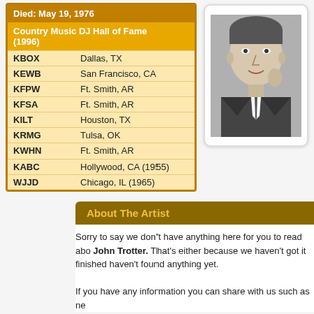| Died: | May 19, 1976 |
| Country Music DJ Hall of Fame (1996) |  |
| KBOX | Dallas, TX |
| KEWB | San Francisco, CA |
| KFPW | Ft. Smith, AR |
| KFSA | Ft. Smith, AR |
| KILT | Houston, TX |
| KRMG | Tulsa, OK |
| KWHN | Ft. Smith, AR |
| KABC | Hollywood, CA (1955) |
| WJJD | Chicago, IL (1965) |
[Figure (photo): Black and white portrait photo of a man in a suit]
About The Artist
Sorry to say we don't have anything here for you to read abo John Trotter. That's either because we haven't got it finished haven't found anything yet.
If you have any information you can share with us such as ne